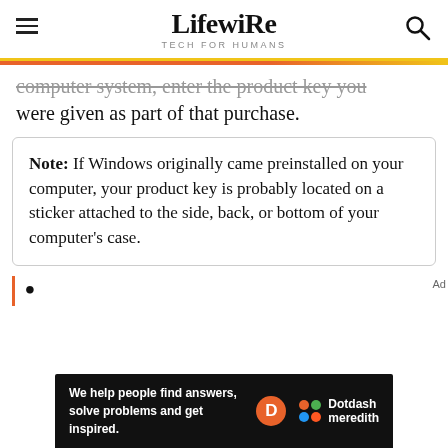Lifewire — TECH FOR HUMANS
computer system, enter the product key you were given as part of that purchase.
Note: If Windows originally came preinstalled on your computer, your product key is probably located on a sticker attached to the side, back, or bottom of your computer's case.
Ad
We help people find answers, solve problems and get inspired. Dotdash meredith